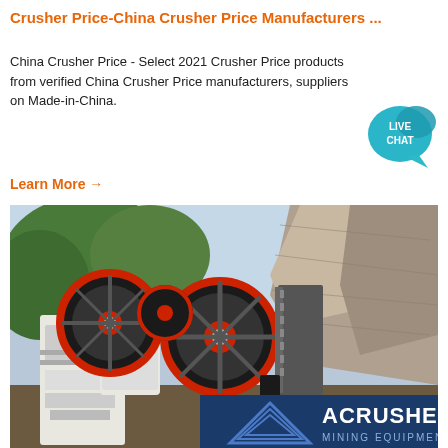Crusher Price-China Crusher Price Manufacturers ...
China Crusher Price - Select 2021 Crusher Price products from verified China Crusher Price manufacturers, suppliers on Made-in-China.
Learn More →
[Figure (photo): Industrial jaw crusher machine outdoors with large black and red flywheels. Rock/concrete being crushed on the right side. ACRUSHER MINING EQUIPMENT logo overlay at bottom right.]